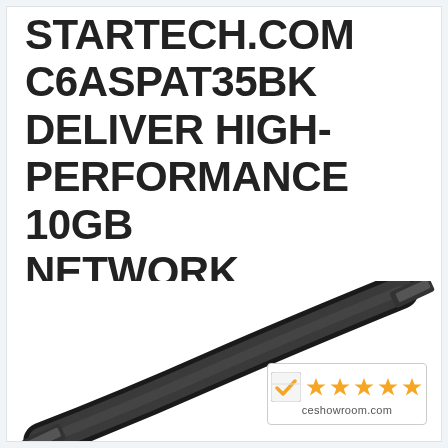STARTECH.COM C6ASPAT35BK DELIVER HIGH-PERFORMANCE 10GB NETWORK CONNECTIONS FREE
[Figure (photo): Black Ethernet cable (Cat6a patch cable) photographed diagonally against white background, with a ceshowroom.com 5-star rating badge in the bottom-right corner.]